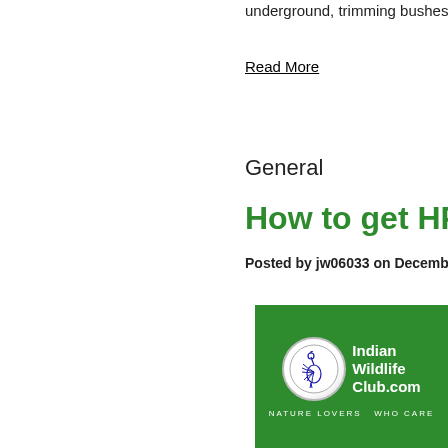underground, trimming bushes, eliminating dr…
Read More
General
How to get HP printer s…
Posted by jw06033 on December 18, 2020
[Figure (logo): Indian Wildlife Club.com logo — green background with a circular badge showing a blue peacock, text 'Indian Wildlife Club.com' in white, and tagline 'NATURE LOVERS WHO CARE' in white.]